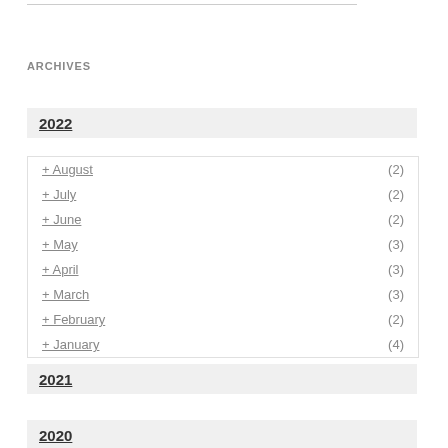ARCHIVES
2022
+ August (2)
+ July (2)
+ June (2)
+ May (3)
+ April (3)
+ March (3)
+ February (2)
+ January (4)
2021
2020